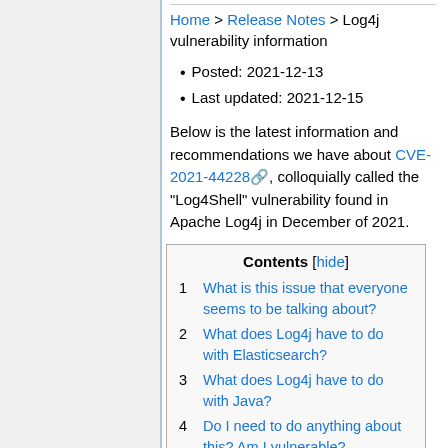Home > Release Notes > Log4j vulnerability information
Posted: 2021-12-13
Last updated: 2021-12-15
Below is the latest information and recommendations we have about CVE-2021-44228, colloquially called the "Log4Shell" vulnerability found in Apache Log4j in December of 2021.
| # | Contents |
| --- | --- |
| 1 | What is this issue that everyone seems to be talking about? |
| 2 | What does Log4j have to do with Elasticsearch? |
| 3 | What does Log4j have to do with Java? |
| 4 | Do I need to do anything about this? Am I vulnerable? |